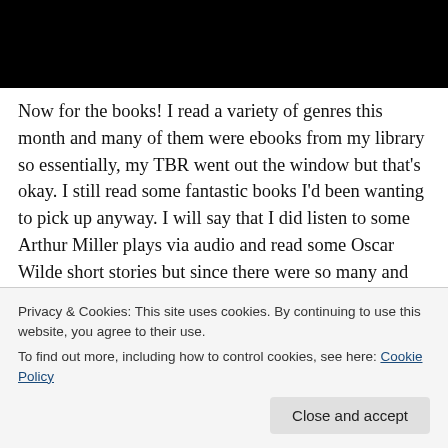[Figure (photo): Black rectangle image at top of page]
Now for the books! I read a variety of genres this month and many of them were ebooks from my library so essentially, my TBR went out the window but that's okay. I still read some fantastic books I'd been wanting to pick up anyway. I will say that I did listen to some Arthur Miller plays via audio and read some Oscar Wilde short stories but since there were so many and they were short, I'm not really going to talk about them specifically or include them
Privacy & Cookies: This site uses cookies. By continuing to use this website, you agree to their use.
To find out more, including how to control cookies, see here: Cookie Policy
Close and accept